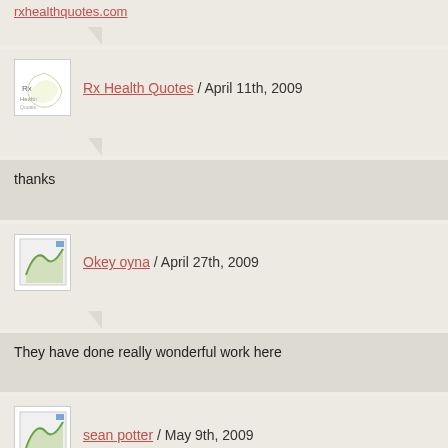rxhealthquotes.com
Rx Health Quotes / April 11th, 2009
thanks
Okey oyna / April 27th, 2009
They have done really wonderful work here
sean potter / May 9th, 2009
You can see from this list that you are a fan of the development of WP blogs 🙁